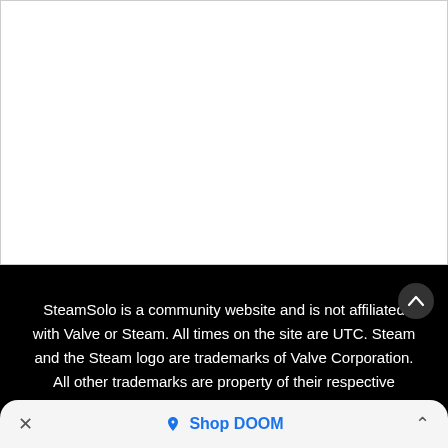[Figure (screenshot): White content area (top of page, content not visible)]
SteamSolo is a community website and is not affiliated with Valve or Steam. All times on the site are UTC. Steam and the Steam logo are trademarks of Valve Corporation. All other trademarks are property of their respective
× ◇ Shop DOOM ^